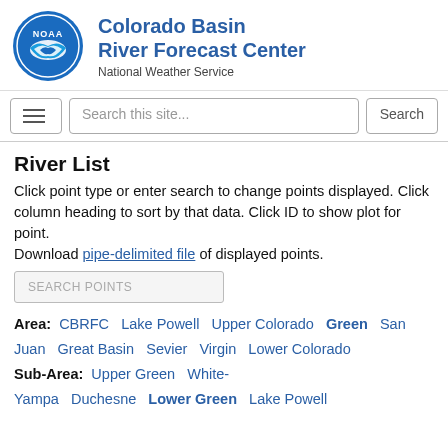[Figure (logo): NOAA circular logo in blue with white bird silhouette]
Colorado Basin River Forecast Center
National Weather Service
Search this site... Search
River List
Click point type or enter search to change points displayed. Click column heading to sort by that data. Click ID to show plot for point.
Download pipe-delimited file of displayed points.
SEARCH POINTS
Area: CBRFC  Lake Powell  Upper Colorado  Green  San Juan  Great Basin  Sevier  Virgin  Lower Colorado
Sub-Area: Upper Green  White-Yampa  Duchesne  Lower Green  Lake Powell